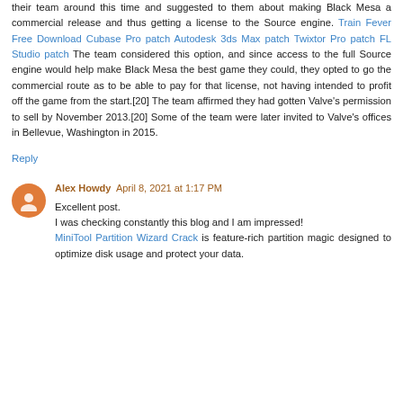their team around this time and suggested to them about making Black Mesa a commercial release and thus getting a license to the Source engine. Train Fever Free Download Cubase Pro patch Autodesk 3ds Max patch Twixtor Pro patch FL Studio patch The team considered this option, and since access to the full Source engine would help make Black Mesa the best game they could, they opted to go the commercial route as to be able to pay for that license, not having intended to profit off the game from the start.[20] The team affirmed they had gotten Valve's permission to sell by November 2013.[20] Some of the team were later invited to Valve's offices in Bellevue, Washington in 2015.
Reply
Alex Howdy  April 8, 2021 at 1:17 PM
Excellent post.
I was checking constantly this blog and I am impressed!
MiniTool Partition Wizard Crack is feature-rich partition magic designed to optimize disk usage and protect your data.